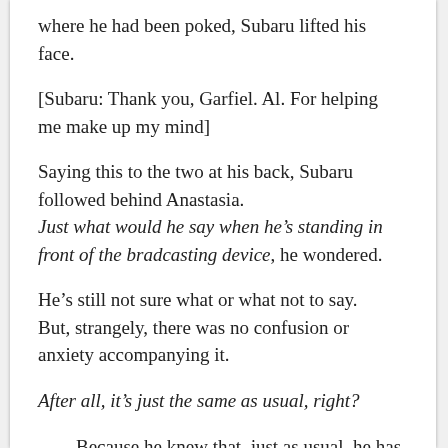where he had been poked, Subaru lifted his face.
[Subaru: Thank you, Garfiel. Al. For helping me make up my mind]
Saying this to the two at his back, Subaru followed behind Anastasia.
Just what would he say when he’s standing in front of the bradcasting device, he wondered.
He’s still not sure what or what not to say.
But, strangely, there was no confusion or anxiety accompanying it.
After all, it’s just the same as usual, right?
——Because he knew that, just as usual, he has no choice but to show off again.